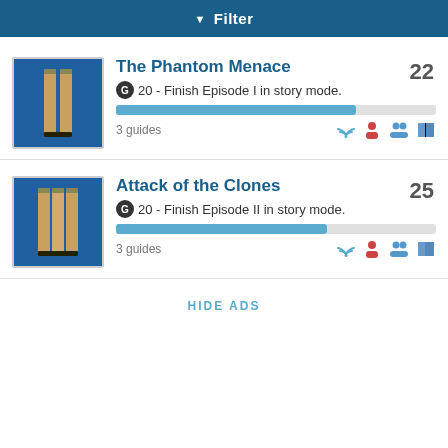Filter
The Phantom Menace
G 20 - Finish Episode I in story mode.
3 guides  22
Attack of the Clones
G 20 - Finish Episode II in story mode.
3 guides  25
HIDE ADS